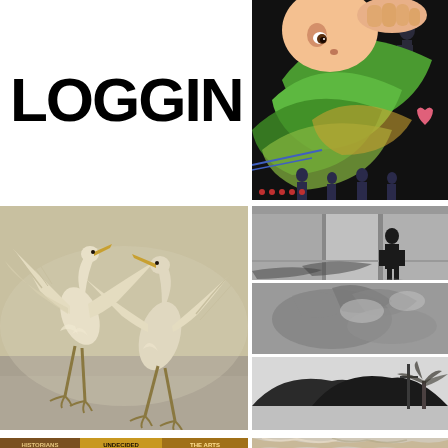LOGGIN
[Figure (photo): Color photo of a baby face peeking over large green tropical leaves, hands holding something, with silhouette figures and heart graphics on a dark background — appears to be a book or magazine cover illustration about genetics or family planning]
[Figure (photo): Photograph of two great egrets or herons in mid-flight with wings spread, appearing to interact or fight, against a hazy sky background]
[Figure (photo): Black and white photo collage with three panels: top panel shows a silhouetted person standing in a modern building corridor; middle panel shows blurred tropical plant leaves; bottom panel shows a dark mountain silhouette with a palm tree and utility pole against a light sky]
[Figure (photo): Partial view of bottom strip showing a book or banner with sections labeled HISTORIANS, UNDECIDED, THE ARTS in brown, yellow/gold, and dark gold color bands]
[Figure (photo): Partial view of a person's face/head with light blonde or white hair, cropped at top of image]